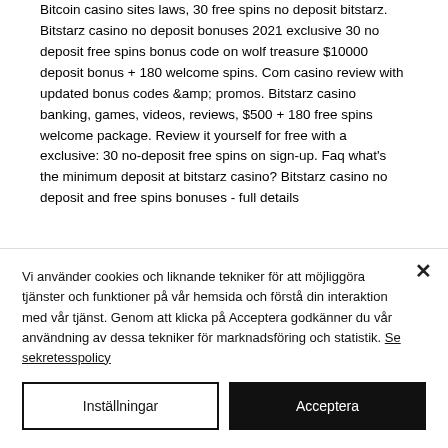Bitcoin casino sites laws, 30 free spins no deposit bitstarz. Bitstarz casino no deposit bonuses 2021 exclusive 30 no deposit free spins bonus code on wolf treasure $10000 deposit bonus + 180 welcome spins. Com casino review with updated bonus codes &amp; promos. Bitstarz casino banking, games, videos, reviews, $500 + 180 free spins welcome package. Review it yourself for free with a exclusive: 30 no-deposit free spins on sign-up. Faq what's the minimum deposit at bitstarz casino? Bitstarz casino no deposit and free spins bonuses - full details
Vi använder cookies och liknande tekniker för att möjliggöra tjänster och funktioner på vår hemsida och förstå din interaktion med vår tjänst. Genom att klicka på Acceptera godkänner du vår användning av dessa tekniker för marknadsföring och statistik. Se sekretesspolicy